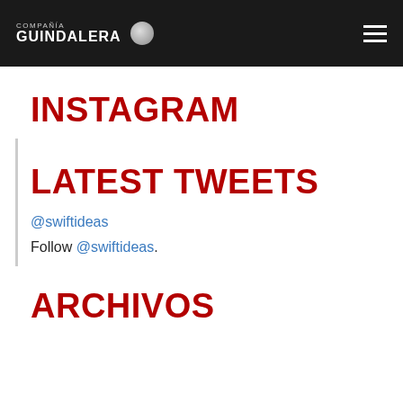COMPAÑIA GUINDALERA
INSTAGRAM
LATEST TWEETS
@swiftideas
Follow @swiftideas.
ARCHIVOS